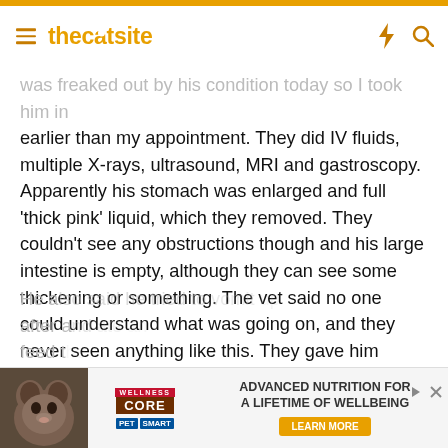thecatsite
was freaked out by his condition today so I took him in earlier than my appointment. They did IV fluids, multiple X-rays, ultrasound, MRI and gastroscopy. Apparently his stomach was enlarged and full 'thick pink' liquid, which they removed. They couldn't see any obstructions though and his large intestine is empty, although they can see some thickening or something. The vet said no one could understand what was going on, and they never seen anything like this. They gave him some type of liquid that should show on X-ray tomorrow, and make sure once again if anything is obstructed. They also gave him some stuff for nausea, and an appetite stimulant.
He also said he tried to vomit up after and an feed th...
[Figure (photo): Advertisement banner: Wellness Core pet food ad with PetSmart branding, showing a cat/dog photo on the left, Wellness Core logo in the middle, and 'Advanced Nutrition for a Lifetime of Wellbeing' text with Learn More button on the right]